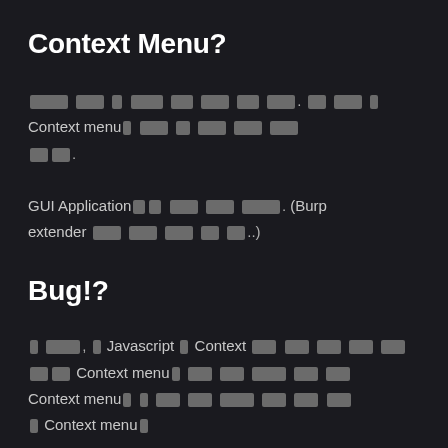Context Menu?
[redacted text] Context menu[redacted] [redacted text].
GUI Application[redacted] [redacted text]. (Burp extender [redacted text]..)
Bug!?
[redacted], Javascript [redacted] Context [redacted text] Context menu[redacted] [redacted text] Context menu[redacted text] [redacted text] Context menu[redacted text]